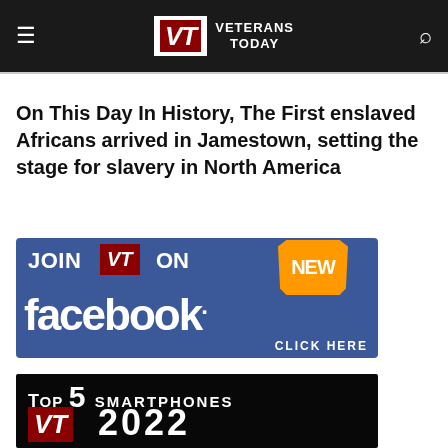Veterans Today
On This Day In History, The First enslaved Africans arrived in Jamestown, setting the stage for slavery in North America
[Figure (infographic): JOIN VT ON NEW facebook CLICK HERE - Facebook promotional banner with blue background]
[Figure (infographic): TOP 5 SMARTPHONES VT 2022 - black background promotional banner]